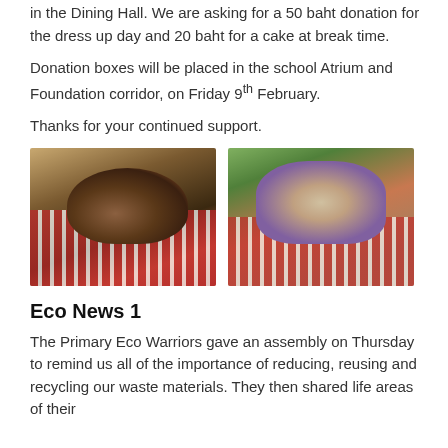in the Dining Hall. We are asking for a 50 baht donation for the dress up day and 20 baht for a cake at break time.
Donation boxes will be placed in the school Atrium and Foundation corridor, on Friday 9th February.
Thanks for your continued support.
[Figure (photo): Two women sitting at a table with a red and white checkered tablecloth, holding a small dog, with posters in the background.]
[Figure (photo): Two children at a table with a red and white checkered tablecloth, one holding a small dog, with a donation box on the table.]
Eco News 1
The Primary Eco Warriors gave an assembly on Thursday to remind us all of the importance of reducing, reusing and recycling our waste materials. They then shared life areas of their...